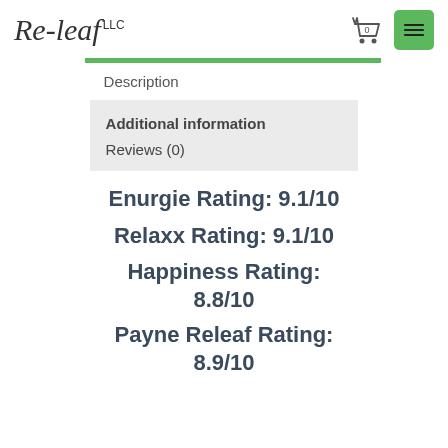[Figure (logo): Re-leaf LLC logo in italic script font]
Description
Additional information
Reviews (0)
Enurgie Rating: 9.1/10
Relaxx Rating: 9.1/10
Happiness Rating: 8.8/10
Payne Releaf Rating: 8.9/10